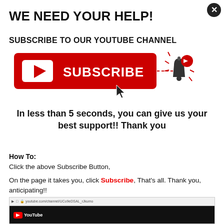WE NEED YOUR HELP!
SUBSCRIBE TO OUR YOUTUBE CHANNEL
[Figure (illustration): YouTube Subscribe button (red rectangle with white play button and SUBSCRIBE text) with a notification bell icon to the right and a cursor arrow below]
In less than 5 seconds, you can give us your best support!! Thank you
How To:
Click the above Subscribe Button,
On the page it takes you, click Subscribe, That's all. Thank you, anticipating!!
[Figure (screenshot): Browser screenshot showing a YouTube channel page with dark background]